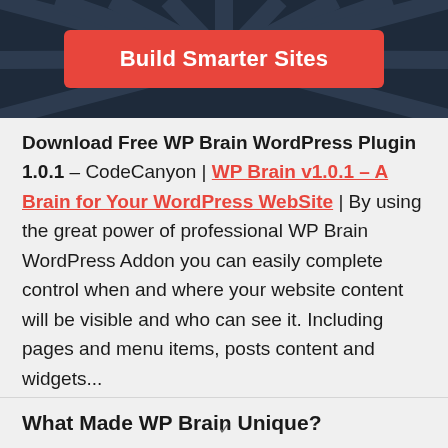[Figure (illustration): Dark navy hero banner with radial sunburst/ray pattern and a red 'Build Smarter Sites' call-to-action button]
Download Free WP Brain WordPress Plugin 1.0.1 – CodeCanyon | WP Brain v1.0.1 – A Brain for Your WordPress WebSite | By using the great power of professional WP Brain WordPress Addon you can easily complete control when and where your website content will be visible and who can see it. Including pages and menu items, posts content and widgets...
What Made WP Brain Unique?